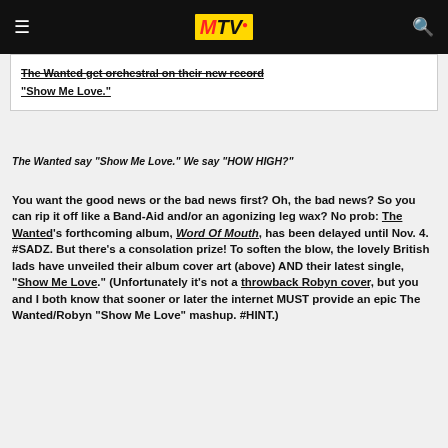MTV
The Wanted get orchestral on their new record "Show Me Love."
The Wanted say "Show Me Love." We say "HOW HIGH?"
You want the good news or the bad news first? Oh, the bad news? So you can rip it off like a Band-Aid and/or an agonizing leg wax? No prob: The Wanted's forthcoming album, Word Of Mouth, has been delayed until Nov. 4. #SADZ. But there's a consolation prize! To soften the blow, the lovely British lads have unveiled their album cover art (above) AND their latest single, "Show Me Love." (Unfortunately it's not a throwback Robyn cover, but you and I both know that sooner or later the internet MUST provide an epic The Wanted/Robyn "Show Me Love" mashup. #HINT.)